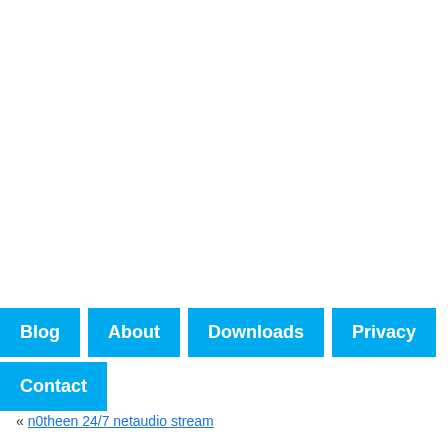Blog | About | Downloads | Privacy | Contact
« n0theen 24/7 netaudio stream